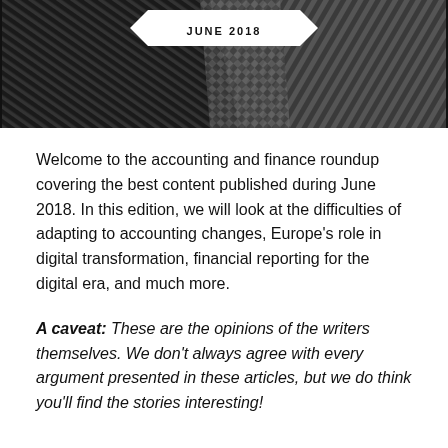[Figure (photo): Black and white cityscape/architecture photo with skyscrapers and geometric patterns. A white banner in the center reads 'JUNE 2018'.]
Welcome to the accounting and finance roundup covering the best content published during June 2018. In this edition, we will look at the difficulties of adapting to accounting changes, Europe's role in digital transformation, financial reporting for the digital era, and much more.
A caveat: These are the opinions of the writers themselves. We don't always agree with every argument presented in these articles, but we do think you'll find the stories interesting!